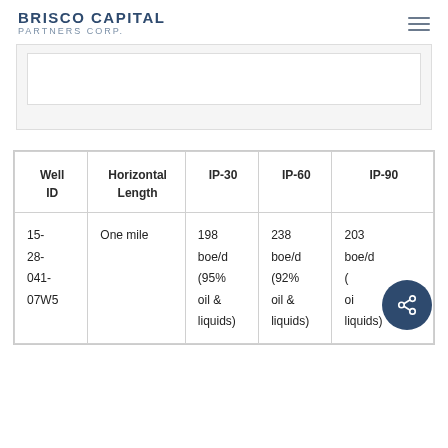BRISCO CAPITAL PARTNERS CORP.
[Figure (other): Partial chart or image visible at top of page, cropped]
| Well ID | Horizontal Length | IP-30 | IP-60 | IP-90 |
| --- | --- | --- | --- | --- |
| 15-28-041-07W5 | One mile | 198 boe/d (95% oil & liquids) | 238 boe/d (92% oil & liquids) | 203 boe/d (... oil & liquids) |